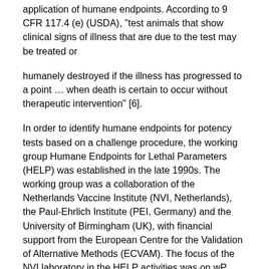application of humane endpoints. According to 9 CFR 117.4 (e) (USDA), "test animals that show clinical signs of illness that are due to the test may be treated or
humanely destroyed if the illness has progressed to a point … when death is certain to occur without therapeutic intervention" [6].
In order to identify humane endpoints for potency tests based on a challenge procedure, the working group Humane Endpoints for Lethal Parameters (HELP) was established in the late 1990s. The working group was a collaboration of the Netherlands Vaccine Institute (NVI, Netherlands), the Paul-Ehrlich Institute (PEI, Germany) and the University of Birmingham (UK), with financial support from the European Centre for the Validation of Alternative Methods (ECVAM). The focus of the NVI laboratory in the HELP activities was on wP vaccine potency testing.
3. Whole cell pertussis (wP) vaccine potency testing
In the past, wP vaccine was used worldwide in basic immunization programs. Due to the intrinsic side effects of the wP vaccine, an improved vaccine was